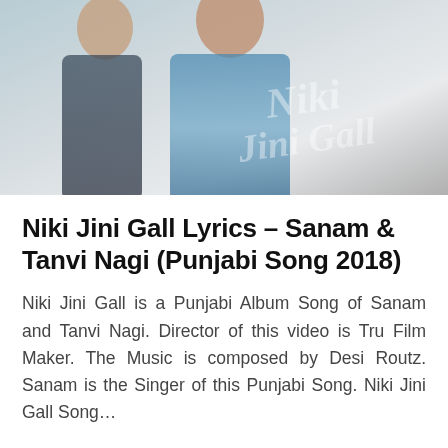[Figure (photo): Cover image for Niki Jini Gall song showing a woman and a man (likely Sanam and Tanvi Nagi) with a decorative script watermark reading 'Niki Jini Gall' in the background]
Niki Jini Gall Lyrics – Sanam & Tanvi Nagi (Punjabi Song 2018)
Niki Jini Gall is a Punjabi Album Song of Sanam and Tanvi Nagi. Director of this video is Tru Film Maker. The Music is composed by Desi Routz. Sanam is the Singer of this Punjabi Song. Niki Jini Gall Song…